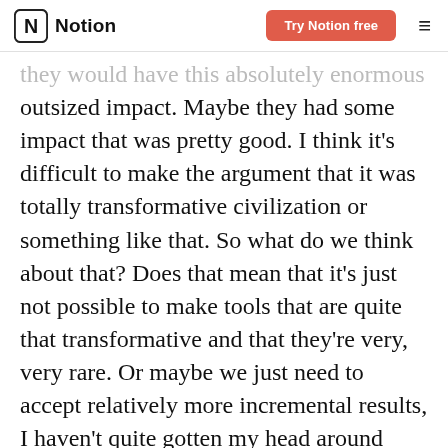Notion | Try Notion free
they would have this absolutely enormous outsized impact. Maybe they had some impact that was pretty good. I think it's difficult to make the argument that it was totally transformative civilization or something like that. So what do we think about that? Does that mean that it's just not possible to make tools that are quite that transformative and that they're very, very rare. Or maybe we just need to accept relatively more incremental results, I haven't quite gotten my head around how I think about that yet.